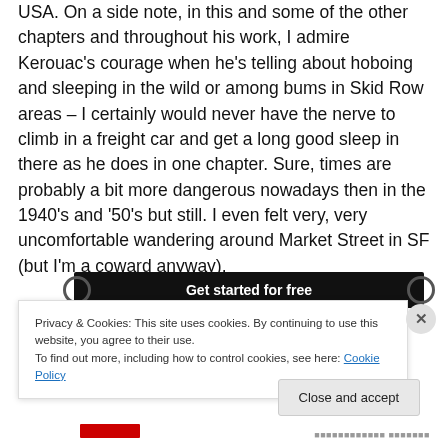USA. On a side note, in this and some of the other chapters and throughout his work, I admire Kerouac's courage when he's telling about hoboing and sleeping in the wild or among bums in Skid Row areas – I certainly would never have the nerve to climb in a freight car and get a long good sleep in there as he does in one chapter. Sure, times are probably a bit more dangerous nowadays then in the 1940's and '50's but still. I even felt very, very uncomfortable wandering around Market Street in SF (but I'm a coward anyway).
[Figure (other): Dark banner ad with text 'Get started for free' and decorative circular brackets on each side]
Privacy & Cookies: This site uses cookies. By continuing to use this website, you agree to their use. To find out more, including how to control cookies, see here: Cookie Policy
Close and accept